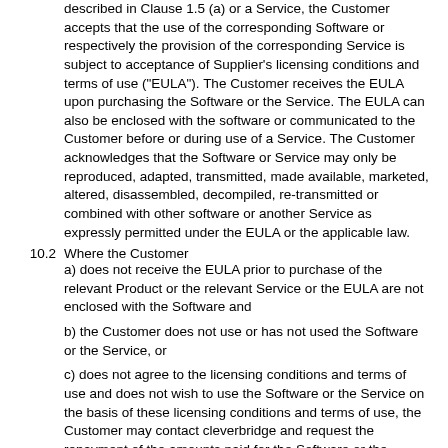described in Clause 1.5 (a) or a Service, the Customer accepts that the use of the corresponding Software or respectively the provision of the corresponding Service is subject to acceptance of Supplier's licensing conditions and terms of use ("EULA"). The Customer receives the EULA upon purchasing the Software or the Service. The EULA can also be enclosed with the software or communicated to the Customer before or during use of a Service. The Customer acknowledges that the Software or Service may only be reproduced, adapted, transmitted, made available, marketed, altered, disassembled, decompiled, re-transmitted or combined with other software or another Service as expressly permitted under the EULA or the applicable law.
10.2 Where the Customer
a) does not receive the EULA prior to purchase of the relevant Product or the relevant Service or the EULA are not enclosed with the Software and
b) the Customer does not use or has not used the Software or the Service, or
c) does not agree to the licensing conditions and terms of use and does not wish to use the Software or the Service on the basis of these licensing conditions and terms of use, the Customer may contact cleverbridge and request the repayment of the amounts paid for the Software or the Service. cleverbridge may, in return, request the return of